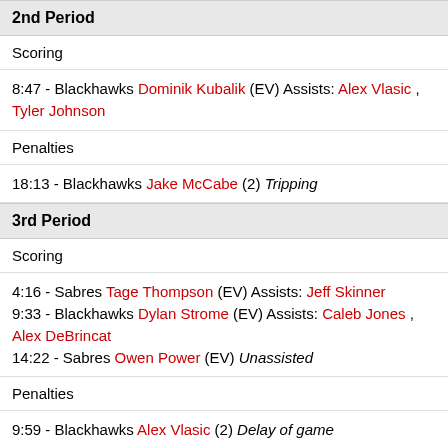2nd Period
Scoring
8:47 - Blackhawks Dominik Kubalik (EV) Assists: Alex Vlasic , Tyler Johnson
Penalties
18:13 - Blackhawks Jake McCabe (2) Tripping
3rd Period
Scoring
4:16 - Sabres Tage Thompson (EV) Assists: Jeff Skinner
9:33 - Blackhawks Dylan Strome (EV) Assists: Caleb Jones , Alex DeBrincat
14:22 - Sabres Owen Power (EV) Unassisted
Penalties
9:59 - Blackhawks Alex Vlasic (2) Delay of game
Overtime